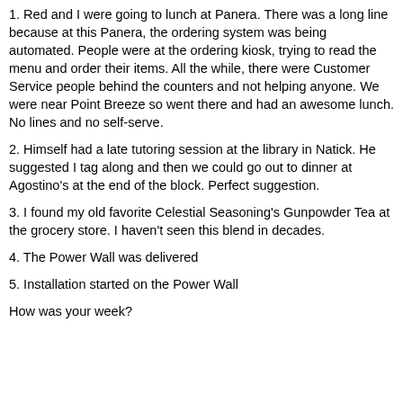1. Red and I were going to lunch at Panera. There was a long line because at this Panera, the ordering system was being automated. People were at the ordering kiosk, trying to read the menu and order their items. All the while, there were Customer Service people behind the counters and not helping anyone. We were near Point Breeze so went there and had an awesome lunch. No lines and no self-serve.
2. Himself had a late tutoring session at the library in Natick. He suggested I tag along and then we could go out to dinner at Agostino's at the end of the block. Perfect suggestion.
3. I found my old favorite Celestial Seasoning's Gunpowder Tea at the grocery store. I haven't seen this blend in decades.
4. The Power Wall was delivered
5. Installation started on the Power Wall
How was your week?